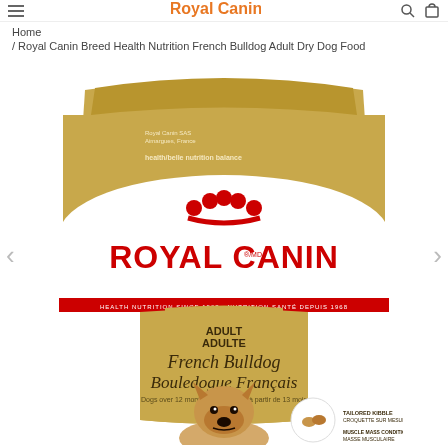Royal Canin logo / navigation header
Home
/ Royal Canin Breed Health Nutrition French Bulldog Adult Dry Dog Food
[Figure (photo): Royal Canin Breed Health Nutrition French Bulldog Adult Dry Dog Food product bag. Gold/tan colored bag with white lower panel. Features Royal Canin logo in red with crown dots. Text reads: ADULT ADULTE, French Bulldog, Bouledogue Français, Dogs over 12 months old. Shows a fawn French Bulldog puppy. Includes tailored kibble / croquette sur mesure callout, muscle mass, healthy skin, odor reduction features listed.]